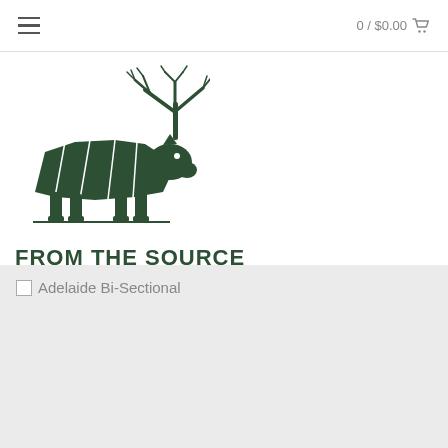0 / $0.00
[Figure (logo): From The Source brand logo: a stylized animal (rhinoceros/tapir) with a tree for antlers, in dark green, with text FROM THE SOURCE below]
Adelaide Bi-Sectional